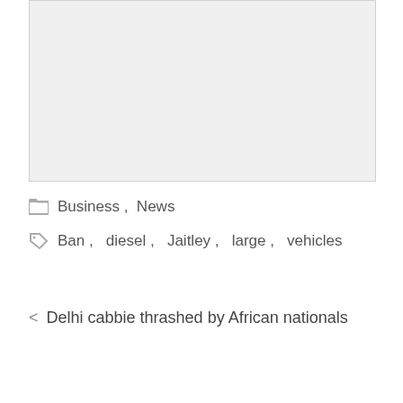[Figure (photo): Gray placeholder image area at top of page]
Business , News
Ban , diesel , Jaitley , large , vehicles
< Delhi cabbie thrashed by African nationals